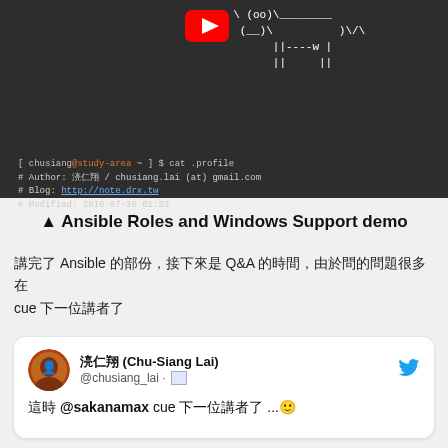[Figure (screenshot): Dark terminal/video screenshot showing ASCII art of a cow, terminal prompt with chusiang@study-area, and a YouTube play button overlay. Text includes: [ chusiang@study-area ~ ] $ cat .profile / # Author: 湸仁翔 / chusiang.lai (at) gmail.com / # Blog: http://note.drx.tw / # Modified: 2016-07-16 01:23]
▲ Ansible Roles and Windows Support demo
講完了 Ansible 的部份，接下來是 Q&A 的時間，由於問的問題很多在 cue 下一位講者了
[Figure (screenshot): Tweet card from 湸仁翔 (Chu-Siang Lai) @chusiang_lai: 這時 @sakanamax cue 下一位講者了 ...🙂]